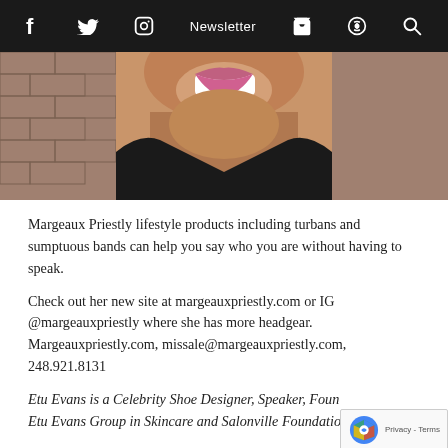f  twitter  instagram  Newsletter  cart  podcast  search
[Figure (photo): Close-up photo of a smiling woman with pink/mauve lipstick wearing a black top, brick wall background]
Margeaux Priestly lifestyle products including turbans and sumptuous bands can help you say who you are without having to speak.
Check out her new site at margeauxpriestly.com or IG @margeauxpriestly where she has more headgear. Margeauxpriestly.com, missale@margeauxpriestly.com, 248.921.8131
Etu Evans is a Celebrity Shoe Designer, Speaker, Foun... Etu Evans Group in Skincare and Salonville Foundation...